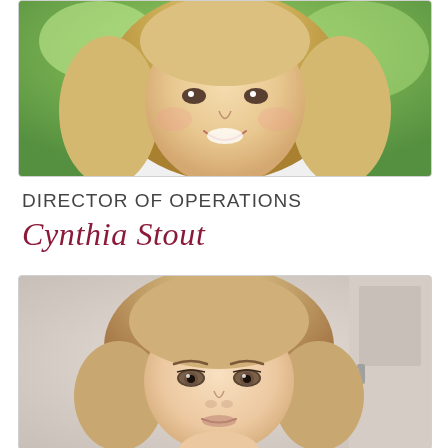[Figure (photo): Headshot of a woman with long blonde hair, smiling, with green outdoor background]
DIRECTOR OF OPERATIONS
Cynthia Stout
[Figure (photo): Headshot of a young woman with blonde hair with pink highlights, looking directly at camera, indoor background]